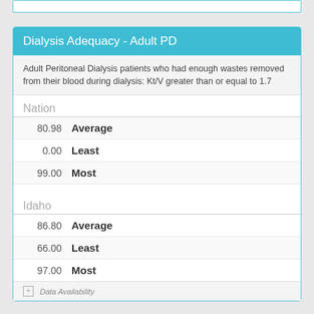Dialysis Adequacy - Adult PD
Adult Peritoneal Dialysis patients who had enough wastes removed from their blood during dialysis: Kt/V greater than or equal to 1.7
| Value | Label |
| --- | --- |
| Nation |  |
| 80.98 | Average |
| 0.00 | Least |
| 99.00 | Most |
| Idaho |  |
| 86.80 | Average |
| 66.00 | Least |
| 97.00 | Most |
Data Availability